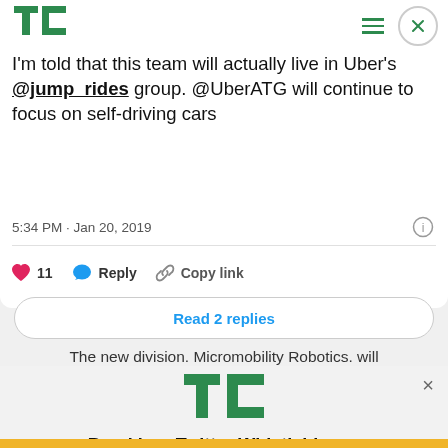[Figure (logo): TechCrunch TC logo in green, top left]
I'm told that this team will actually live in Uber's @jump_rides group. @UberATG will continue to focus on self-driving cars
5:34 PM · Jan 20, 2019
11  Reply  Copy link
Read 2 replies
The new division. Micromobility Robotics. will
[Figure (logo): TechCrunch TC logo in green, advertisement]
Breaking: Twitter Whistleblower
READ NOW